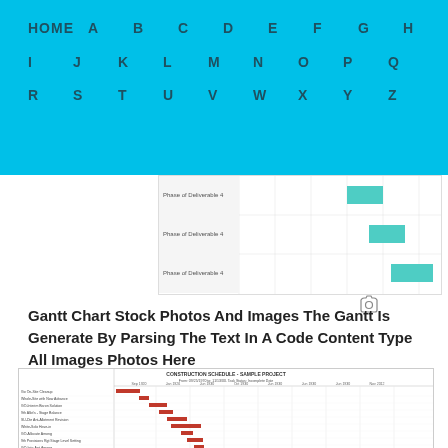HOME A B C D E F G H I J K L M N O P Q R S T U V W X Y Z
[Figure (other): Partial Gantt chart preview showing 3 rows with teal/green bars in the right portion of the chart]
Gantt Chart Stock Photos And Images The Gantt Is Generate By Parsing The Text In A Code Content Type All Images Photos Here
[Figure (other): Construction Schedule Sample Project Gantt chart with red bars showing tasks from approximately Sep 2020 to Jan 2022]